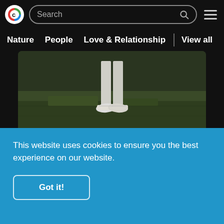[Figure (screenshot): Website header with logo, search bar, hamburger menu, and navigation bar with Nature, People, Love & Relationship, View all links, followed by two photo thumbnails and a cookie consent banner]
Search | Nature | People | Love & Relationship | View all
[Figure (photo): Photo showing a person's legs standing on green grass, wearing white pants and white sneakers]
[Figure (photo): Photo showing outdoor scene with dark green trees against a blue sky]
This website uses cookies to ensure you the best experience on our website.
Got it!